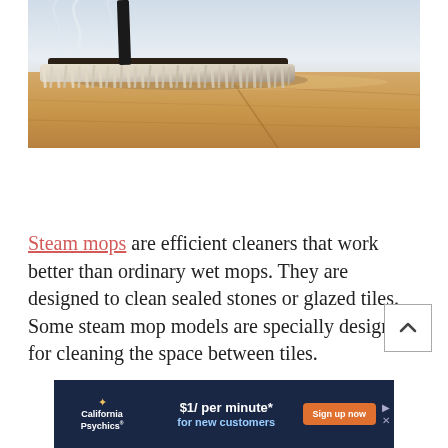[Figure (photo): Close-up photo of a steam mop head on a hardwood floor, with steam visible. The mop has a white shaggy/microfiber cleaning pad, shown from a low angle against a warm light-colored wood floor. A dark handle is partially visible at top.]
Steam mops are efficient cleaners that work better than ordinary wet mops. They are designed to clean sealed stones or glazed tiles. Some steam mop models are specially designed for cleaning the space between tiles.
[Figure (infographic): Advertisement banner for California Psychics. Dark navy background with California Psychics logo (star icon), text '$1/ per minute* for new customers', and an orange 'Sign up now' button. Navigation arrows visible on right side.]